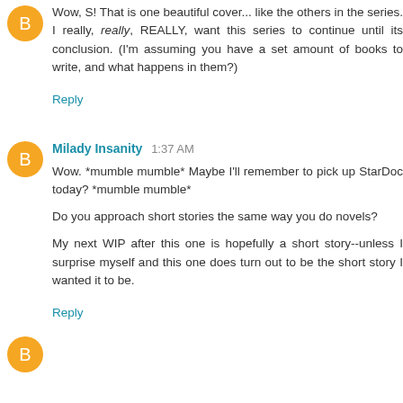Wow, S! That is one beautiful cover... like the others in the series. I really, really, REALLY, want this series to continue until its conclusion. (I'm assuming you have a set amount of books to write, and what happens in them?)
Reply
Milady Insanity 1:37 AM
Wow. *mumble mumble* Maybe I'll remember to pick up StarDoc today? *mumble mumble*
Do you approach short stories the same way you do novels?
My next WIP after this one is hopefully a short story--unless I surprise myself and this one does turn out to be the short story I wanted it to be.
Reply